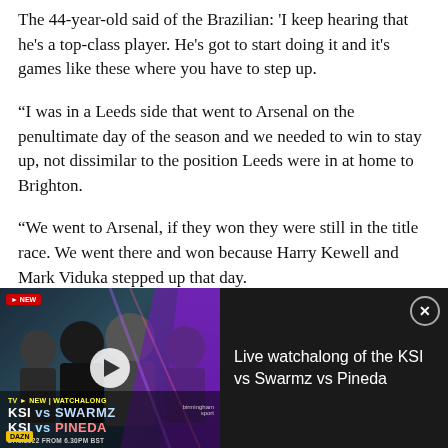The 44-year-old said of the Brazilian: 'I keep hearing that he's a top-class player. He's got to start doing it and it's games like these where you have to step up.
"I was in a Leeds side that went to Arsenal on the penultimate day of the season and we needed to win to stay up, not dissimilar to the position Leeds were in at home to Brighton.
"We went to Arsenal, if they won they were still in the title race. We went there and won because Harry Kewell and Mark Viduka stepped up that day.
[Figure (screenshot): Advertisement banner for a live watchalong of KSI vs Swarmz vs Pineda boxing event, showing a dark thumbnail with fighters and a play button on the left, and the event title text on the right against a dark background.]